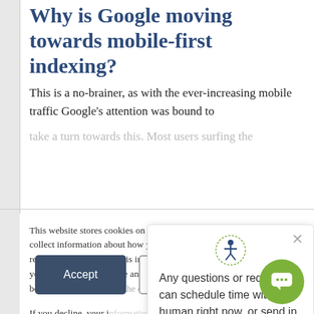Why is Google moving towards mobile-first indexing?
This is a no-brainer, as with the ever-increasing mobile traffic Google’s attention was bound to take a turn towards this. Most users surfing the
This website stores cookies on your computer. These cookies are used to collect information about how you interact with our website and allow us to remember you. We use this information in order to improve and customize your browsing experience and for analytics and metrics about our visitors both on this website and the cookies we use,
If you decline, your i when you visit this w used in your browse not to be tracked.
Any questions or requests? I can schedule time with a human right now, or send in your question!
Accept
Decline